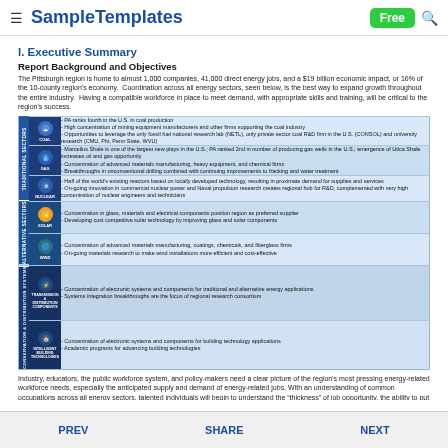SampleTemplates | Free
I. Executive Summary
Report Background and Objectives
The Pittsburgh region is home to almost 1,000 companies, 41,000 direct energy jobs, and a $19 billion economic impact, or 16% of the 10-county region's economy. Coordination across all energy sectors, seen below, is the best way to expand growth throughout the entire industry. Having a compatible workforce in place to meet demand, with appropriate skills and training, will be critical to the region's success.
[Figure (infographic): Energy sector infographic table with rows for Coal, Gas, Nuclear, Solar, Wind, Transmission & Distribution Components, and Intelligent Building Technologies. Each row has an icon, sector label, and bullet points describing Pittsburgh region strengths.]
Industry, educators, the public workforce system, and policy-makers need a clear picture of the region's most pressing energy-related workforce needs, especially the anticipated supply and demand of energy-related jobs. With an understanding of common occupations across all energy sectors, talented individuals will begin to understand the "thickness" of job opportunity, the ability to put their hard-won skills to use across a variety of industries and sectors. More potential job-seekers can be encouraged to pursue the education and/or training needed to qualify, therefore helping better balance supply with demand.
PREV | SHARE | NEXT